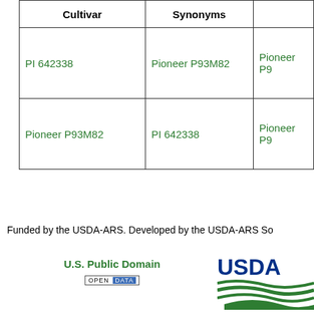| Cultivar | Synonyms |  |
| --- | --- | --- |
| PI 642338 | Pioneer P93M82 | Pioneer P9… |
| Pioneer P93M82 | PI 642338 | Pioneer P9… |
Funded by the USDA-ARS. Developed by the USDA-ARS So…
[Figure (logo): U.S. Public Domain Open Data badge]
[Figure (logo): USDA logo with green swoosh design]